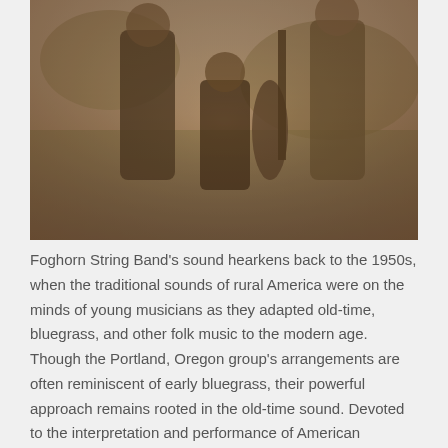[Figure (photo): Sepia-toned photograph of the Foghorn String Band, musicians posing outdoors with instruments including what appears to be a bass or large stringed instrument. Multiple people visible, one crouching.]
Foghorn String Band's sound hearkens back to the 1950s, when the traditional sounds of rural America were on the minds of young musicians as they adapted old-time, bluegrass, and other folk music to the modern age. Though the Portland, Oregon group's arrangements are often reminiscent of early bluegrass, their powerful approach remains rooted in the old-time sound. Devoted to the interpretation and performance of American stringband music, their style encompasses early country music, the fiddle tunes of the Southern Appalachians and the Midwest, as well as the stringband sounds of central Virginia.
SEE THE COMPLETE FIDDLE TUNES CONCERT